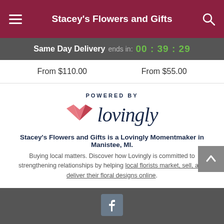Stacey's Flowers and Gifts
Same Day Delivery ends in: 00 : 39 : 29
From $110.00
From $55.00
[Figure (logo): Lovingly logo with heart icon and text 'lovingly', preceded by 'POWERED BY']
Stacey's Flowers and Gifts is a Lovingly Momentmaker in Manistee, MI.
Buying local matters. Discover how Lovingly is committed to strengthening relationships by helping local florists market, sell, and deliver their floral designs online.
Facebook icon footer